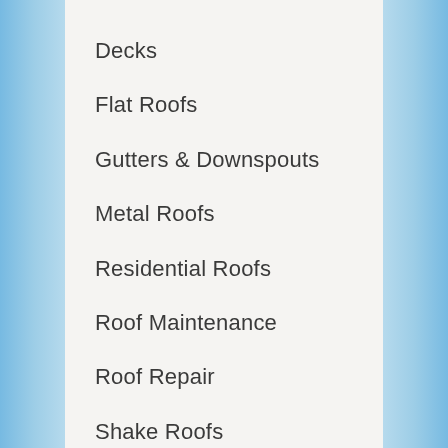Decks
Flat Roofs
Gutters & Downspouts
Metal Roofs
Residential Roofs
Roof Maintenance
Roof Repair
Shake Roofs
Shingle Roofs